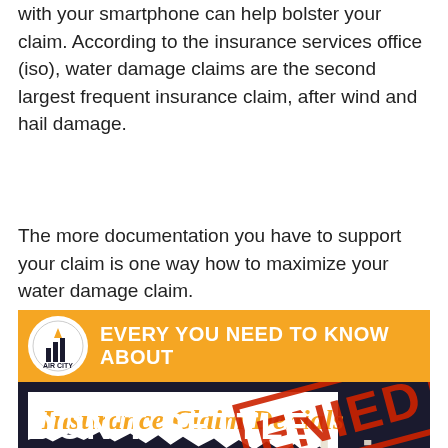with your smartphone can help bolster your claim. According to the insurance services office (iso), water damage claims are the second largest frequent insurance claim, after wind and hail damage.
The more documentation you have to support your claim is one way how to maximize your water damage claim.
[Figure (infographic): Infographic with orange banner showing 'Air City' logo and text 'EVERY YOU NEED TO KNOW ABOUT'. Below is a dark section with torn paper effect showing 'Insurance Claim Denials' in orange italic text, with 'claims' visible in background, a DENIED stamp in red, 'INSURANCE 101: TIPS FOR FIRE CLAIM DENIALS' text, and partial text 'DON'T SETTLE' at bottom.]